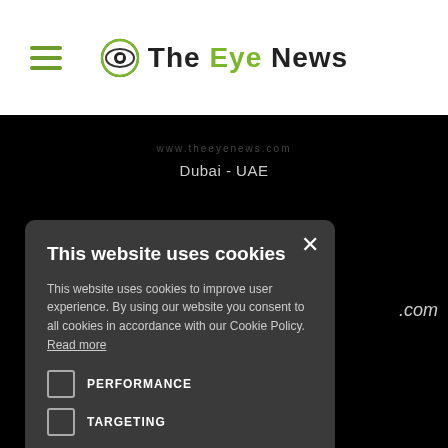The Eye News — Dubai - UAE
This website uses cookies
This website uses cookies to improve user experience. By using our website you consent to all cookies in accordance with our Cookie Policy. Read more
PERFORMANCE
TARGETING
ACCEPT ALL  DECLINE ALL
SHOW DETAILS